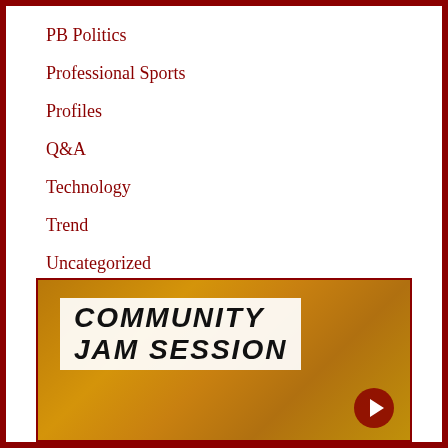PB Politics
Professional Sports
Profiles
Q&A
Technology
Trend
Uncategorized
What's Going on with...
YCRadio
[Figure (photo): Community Jam Session promotional image with text 'COMMUNITY JAM SESSION' on a golden/amber colored background]